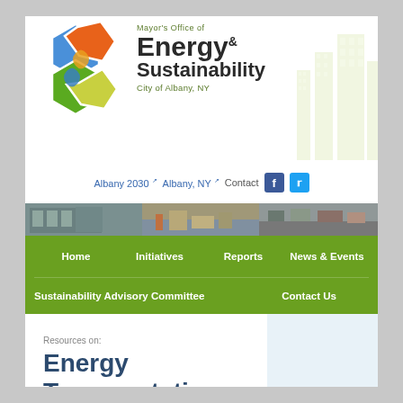[Figure (logo): Mayor's Office of Energy & Sustainability - City of Albany, NY logo with colored hexagon puzzle pieces]
Albany 2030 | Albany, NY | Contact
[Figure (photo): Photo strip showing cityscape and waterfront scenes of Albany, NY]
Home | Initiatives | Reports | News & Events | Sustainability Advisory Committee | Contact Us
Resources on:
Energy
Transportation
Waste